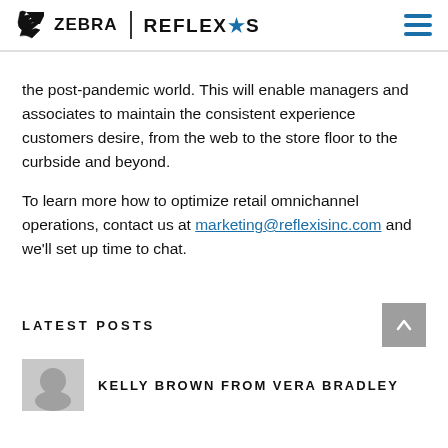ZEBRA | REFLEXIS
the post-pandemic world. This will enable managers and associates to maintain the consistent experience customers desire, from the web to the store floor to the curbside and beyond.
To learn more how to optimize retail omnichannel operations, contact us at marketing@reflexisinc.com and we'll set up time to chat.
LATEST POSTS
KELLY BROWN FROM VERA BRADLEY